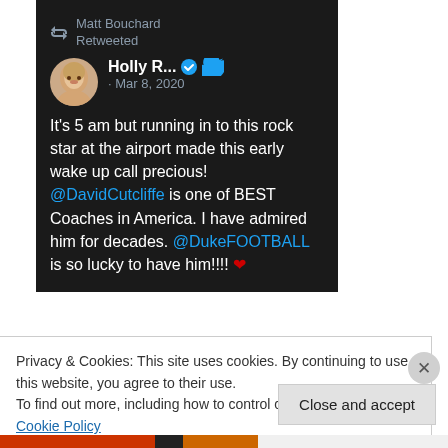[Figure (screenshot): Screenshot of a Twitter/X post. Matt Bouchard Retweeted. Holly R... (verified blue check) @DavidCutcliffe mention. Mar 8, 2020. Tweet text: It's 5 am but running in to this rock star at the airport made this early wake up call precious! @DavidCutcliffe is one of BEST Coaches in America. I have admired him for decades. @DukeFOOTBALL is so lucky to have him!!!! ❤]
Privacy & Cookies: This site uses cookies. By continuing to use this website, you agree to their use.
To find out more, including how to control cookies, see here: Cookie Policy
Close and accept